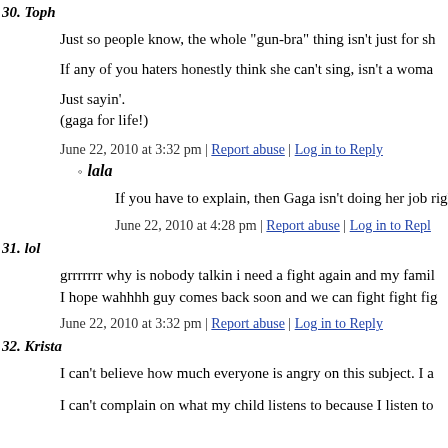30. Toph
Just so people know, the whole "gun-bra" thing isn't just for sh
If any of you haters honestly think she can't sing, isn't a woman
Just sayin'.
(gaga for life!)
June 22, 2010 at 3:32 pm | Report abuse | Log in to Reply
lala
If you have to explain, then Gaga isn't doing her job righ
June 22, 2010 at 4:28 pm | Report abuse | Log in to Repl
31. lol
grrrrrrr why is nobody talkin i need a fight again and my famil
I hope wahhhh guy comes back soon and we can fight fight fig
June 22, 2010 at 3:32 pm | Report abuse | Log in to Reply
32. Krista
I can't believe how much everyone is angry on this subject. I a
I can't complain on what my child listens to because I listen to